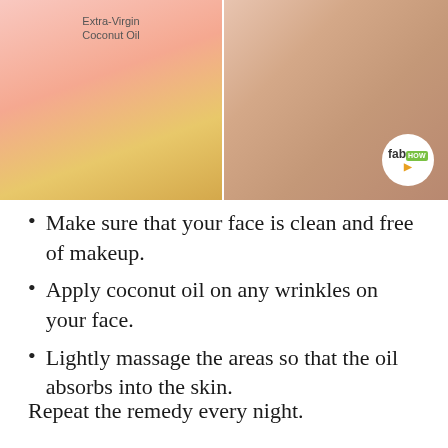[Figure (photo): Left half: jar of Extra-Virgin Coconut Oil on a pink background. Right half: close-up of human skin being touched by fingers, with a fabHOW logo badge in the bottom-right corner.]
Make sure that your face is clean and free of makeup.
Apply coconut oil on any wrinkles on your face.
Lightly massage the areas so that the oil absorbs into the skin.
Repeat the remedy every night.